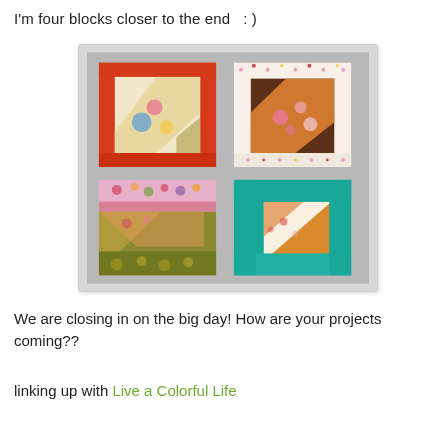I'm four blocks closer to the end  : )
[Figure (photo): Four quilt blocks arranged in a 2x2 grid. Top-left: red/orange bordered block with cream center and floral fabric. Top-right: white floral bordered block with orange/brown center. Bottom-left: colorful floral patchwork block in pink, red, olive. Bottom-right: teal bordered block with small patterned center.]
We are closing in on the big day!  How are your projects coming??
linking up with Live a Colorful Life